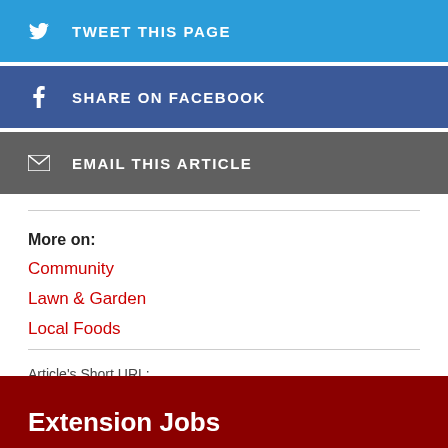TWEET THIS PAGE
SHARE ON FACEBOOK
EMAIL THIS ARTICLE
More on:
Community
Lawn & Garden
Local Foods
Article's Short URL: go.ncsu.edu/readext?513035
Extension Jobs